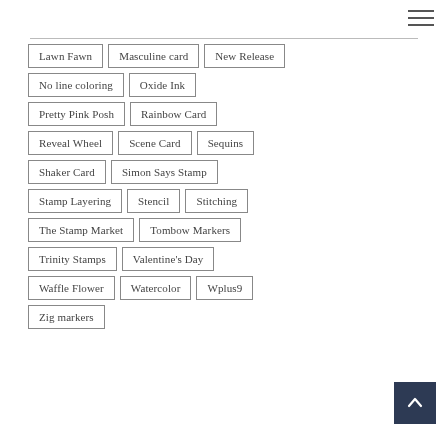Lawn Fawn
Masculine card
New Release
No line coloring
Oxide Ink
Pretty Pink Posh
Rainbow Card
Reveal Wheel
Scene Card
Sequins
Shaker Card
Simon Says Stamp
Stamp Layering
Stencil
Stitching
The Stamp Market
Tombow Markers
Trinity Stamps
Valentine's Day
Waffle Flower
Watercolor
Wplus9
Zig markers